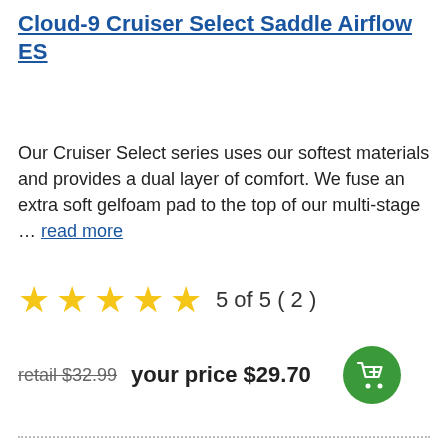Cloud-9 Cruiser Select Saddle Airflow ES
Our Cruiser Select series uses our softest materials and provides a dual layer of comfort. We fuse an extra soft gelfoam pad to the top of our multi-stage … read more
5 of 5 ( 2 )
retail $32.99 your price $29.70
[Figure (photo): Black bicycle saddle with white C9 logo]